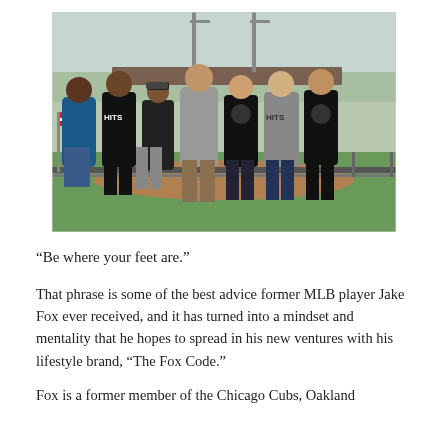[Figure (photo): Group photo of seven men standing in a row at a baseball stadium. Several are wearing black or gray t-shirts with 'HITS' or a logo on them. One man in the center wears a gray t-shirt. They are standing along a railing with a baseball field visible in the background.]
“Be where your feet are.”
That phrase is some of the best advice former MLB player Jake Fox ever received, and it has turned into a mindset and mentality that he hopes to spread in his new ventures with his lifestyle brand, “The Fox Code.”
Fox is a former member of the Chicago Cubs, Oakland